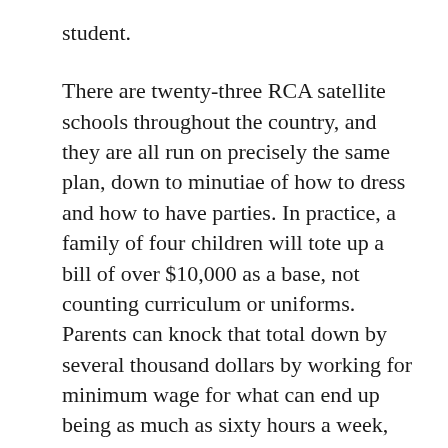student.
There are twenty-three RCA satellite schools throughout the country, and they are all run on precisely the same plan, down to minutiae of how to dress and how to have parties. In practice, a family of four children will tote up a bill of over $10,000 as a base, not counting curriculum or uniforms. Parents can knock that total down by several thousand dollars by working for minimum wage for what can end up being as much as sixty hours a week, not counting the volunteer and fundraising work the family is expected to provide.